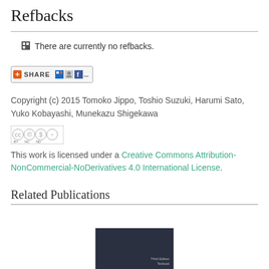Refbacks
There are currently no refbacks.
[Figure (other): Share button with social media icons (AddThis share widget)]
Copyright (c) 2015 Tomoko Jippo, Toshio Suzuki, Harumi Sato, Yuko Kobayashi, Munekazu Shigekawa
[Figure (logo): Creative Commons BY-NC-ND license badge]
This work is licensed under a Creative Commons Attribution-NonCommercial-NoDerivatives 4.0 International License.
Related Publications
[Figure (photo): Partial book cover thumbnail with dark background showing 'Third Edition Textbook']